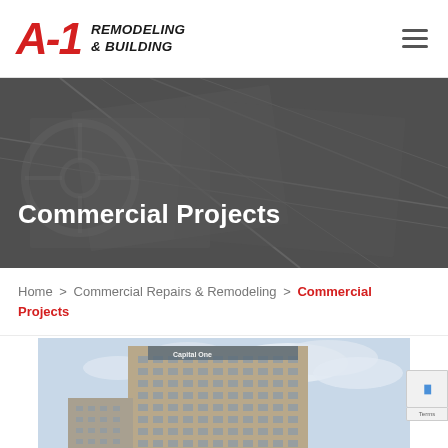[Figure (logo): A-1 Remodeling & Building logo with red stylized A-1 and bold italic black text]
[Figure (photo): Dark grayscale hero banner image showing construction blueprints/plans on a table with overlapping lines and a steering wheel visible, serving as background for page title]
Commercial Projects
Home > Commercial Repairs & Remodeling > Commercial Projects
[Figure (photo): Photograph of a tall commercial office building (Capital One tower) against a cloudy sky]